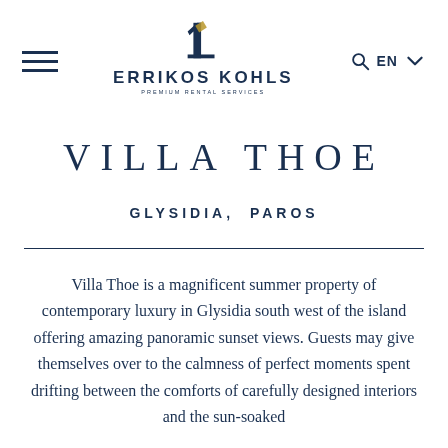Errikos Kohls Premium Rental Services — navigation header with hamburger menu, logo, search icon, EN language selector
VILLA THOE
GLYSIDIA, PAROS
Villa Thoe is a magnificent summer property of contemporary luxury in Glysidia south west of the island offering amazing panoramic sunset views. Guests may give themselves over to the calmness of perfect moments spent drifting between the comforts of carefully designed interiors and the sun-soaked